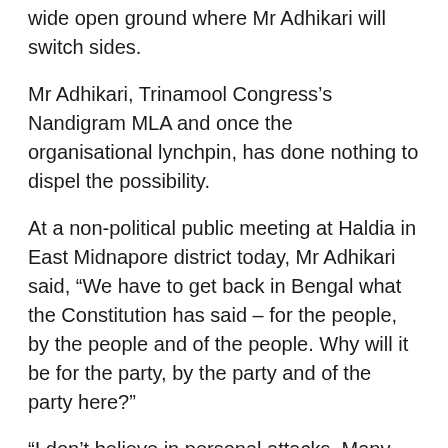wide open ground where Mr Adhikari will switch sides.
Mr Adhikari, Trinamool Congress's Nandigram MLA and once the organisational lynchpin, has done nothing to dispel the possibility.
At a non-political public meeting at Haldia in East Midnapore district today, Mr Adhikari said, “We have to get back in Bengal what the Constitution has said – for the people, by the people and of the people. Why will it be for the party, by the party and of the party here?”
“I don’t believe in personal attacks. Many people are abusing me. Some people are attacking me from big posts. But in a few days, you will know when people cast their vote how it feels to be Laxman Seth, Anil Bose, Bolenoy Konar,” Mr Adhikari said, referring to three Communist Party of India (Marxist) leaders who won with record margins in the past and lost by record margins too.